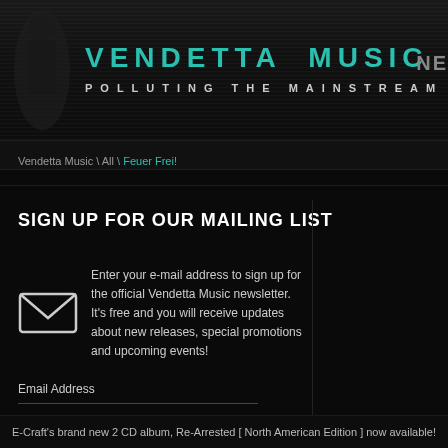VENDETTA MUSIC — POLLUTING THE MAINSTREAM
Vendetta Music \ All \ Feuer Frei!
SIGN UP FOR OUR MAILING LIST
Enter your e-mail address to sign up for the official Vendetta Music newsletter. It's free and you will receive updates about new releases, special promotions and upcoming events!
Email Address
E-Craft's brand new 2 CD album, Re-Arrested [ North American Edition ] now available!